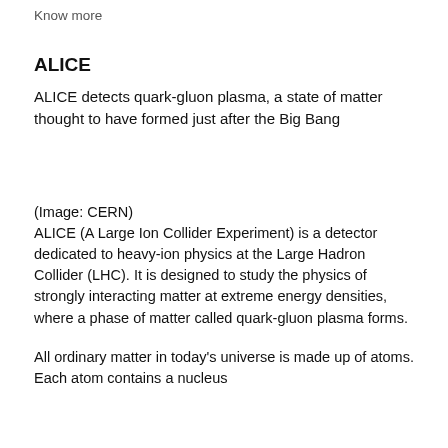Know more
ALICE
ALICE detects quark-gluon plasma, a state of matter thought to have formed just after the Big Bang
(Image: CERN)
ALICE (A Large Ion Collider Experiment) is a detector dedicated to heavy-ion physics at the Large Hadron Collider (LHC). It is designed to study the physics of strongly interacting matter at extreme energy densities, where a phase of matter called quark-gluon plasma forms.
All ordinary matter in today's universe is made up of atoms. Each atom contains a nucleus